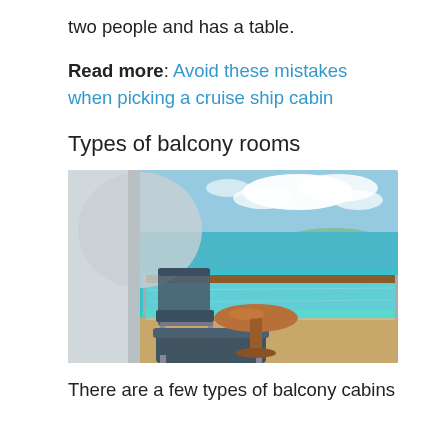two people and has a table.
Read more: Avoid these mistakes when picking a cruise ship cabin
Types of balcony rooms
[Figure (photo): A cruise ship balcony with two chairs and a small round wooden table, overlooking turquoise ocean water under a blue sky with clouds.]
There are a few types of balcony cabins